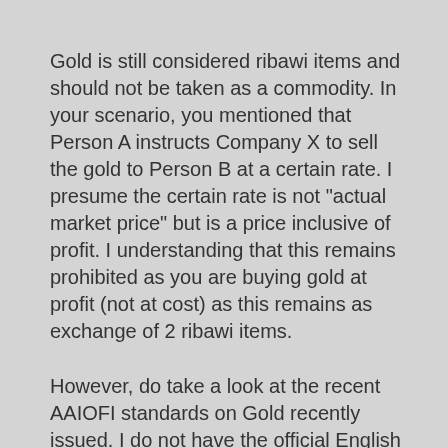Gold is still considered ribawi items and should not be taken as a commodity. In your scenario, you mentioned that Person A instructs Company X to sell the gold to Person B at a certain rate. I presume the certain rate is not “actual market price” but is a price inclusive of profit. I understanding that this remains prohibited as you are buying gold at profit (not at cost) as this remains as exchange of 2 ribawi items.
However, do take a look at the recent AAIOFI standards on Gold recently issued. I do not have the official English version (official translation in progress) but there are some interesting insights to the new standard. There are specific definitions to what you would consider Gold as ribawi items. I do not remember the ratio but if